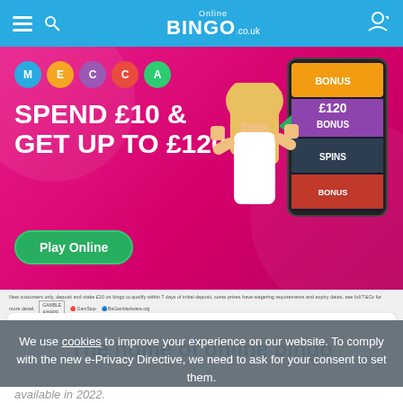Online BINGO .co.uk
[Figure (screenshot): Mecca Bingo promotional banner. Pink background with Mecca logo circles (M, E, C, C, A), headline 'SPEND £10 & GET UP TO £120', green 'Play Online' button, woman with raised fists, tablet showing £120 BONUS.]
New customers only, deposit and stake £10 on bingo to qualify within 7 days of initial deposit, some prizes have wagering requirements and expiry dates, see full T&Cs for more detail.
The home of online bingo
We use cookies to improve your experience on our website. To comply with the new e-Privacy Directive, we need to ask for your consent to set them.
I Agree
available in 2022.